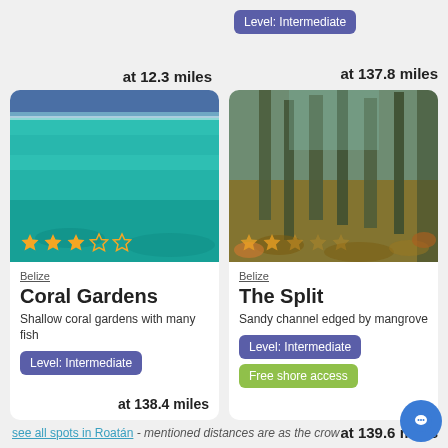at 12.3 miles
Level: Intermediate
at 137.8 miles
[Figure (photo): Turquoise ocean water with shallow coral reef, clear blue sky on horizon, with 3 filled and 2 empty orange star rating overlay]
Belize
Coral Gardens
Shallow coral gardens with many fish
Level: Intermediate
at 138.4 miles
[Figure (photo): Underwater photo of mangrove roots and rocky seabed with murky green water, with partial star rating overlay]
Belize
The Split
Sandy channel edged by mangrove
Level: Intermediate
Free shore access
at 139.6 miles
see all spots in Roatán - mentioned distances are as the crow flies